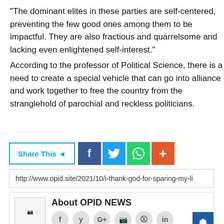“The dominant elites in these parties are self-centered, preventing the few good ones among them to be impactful. They are also fractious and quarrelsome and lacking even enlightened self-interest.”
According to the professor of Political Science, there is a need to create a special vehicle that can go into alliance and work together to free the country from the stranglehold of parochial and reckless politicians.
[Figure (infographic): Share This button with social media icons: Facebook (blue), Twitter (blue), WhatsApp (green), More/Plus (orange-red)]
http://www.opid.site/2021/10/i-thank-god-for-sparing-my-li
[Figure (infographic): About OPID NEWS section with placeholder image on left and title 'About OPID NEWS' on right with social media icon row below (f, y, G+, Instagram, Pinterest, in)]